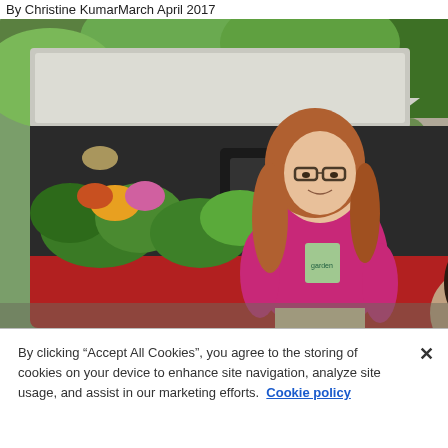By Christine KumarMarch April 2017
[Figure (photo): Two women standing near the open trunk of a red SUV loaded with plants and flowers, outdoors with trees in the background. A woman in a pink/magenta t-shirt stands behind, and another woman with dark hair crouches in front near the plants.]
By clicking “Accept All Cookies”, you agree to the storing of cookies on your device to enhance site navigation, analyze site usage, and assist in our marketing efforts.  Cookie policy